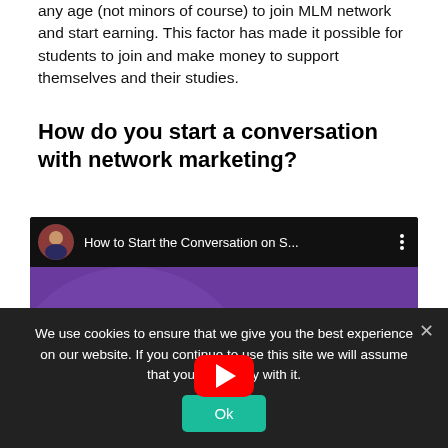any age (not minors of course) to join MLM network and start earning. This factor has made it possible for students to join and make money to support themselves and their studies.
How do you start a conversation with network marketing?
[Figure (screenshot): YouTube video thumbnail showing a blonde woman speaking on stage with a purple background, with a red YouTube play button overlay. Video title: 'How to Start the Conversation on S...']
We use cookies to ensure that we give you the best experience on our website. If you continue to use this site we will assume that you are happy with it.